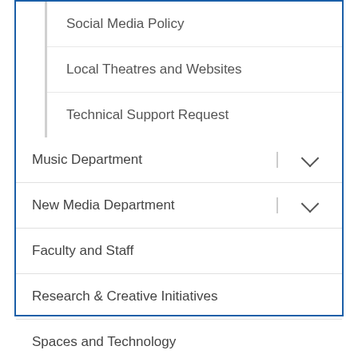Social Media Policy
Local Theatres and Websites
Technical Support Request
Music Department
New Media Department
Faculty and Staff
Research & Creative Initiatives
Spaces and Technology
Alumni & Student Success